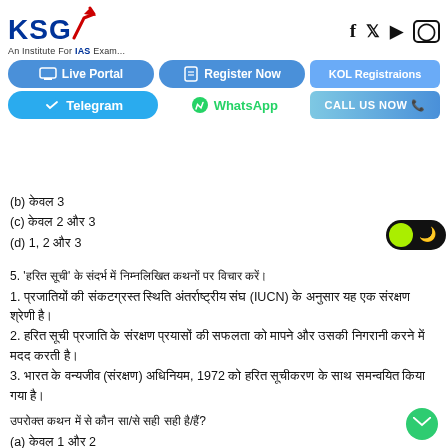[Figure (logo): KSG Institute for IAS Exam logo with red arrow]
[Figure (infographic): Social media icons: Facebook, Twitter, YouTube, Instagram]
[Figure (infographic): Navigation buttons: Live Portal, Register Now, KOL Registrations, Telegram, WhatsApp, CALL US NOW]
(b) केवल 3
(c) केवल 2 और 3
(d) 1, 2 और 3
5. 'हरित सूची' के संदर्भ में निम्नलिखित कथनों पर विचार करें।
1. प्रजातियों की संकटग्रस्त स्थिति अंतर्राष्ट्रीय संघ (IUCN) के अनुसार यह एक संरक्षण श्रेणी है।
2. हरित सूची प्रजाति के संरक्षण प्रयासों की सफलता को मापने और उसकी निगरानी करने में मदद करती है।
3. भारत के वन्यजीव (संरक्षण) अधिनियम, 1972 को हरित सूचीकरण के साथ समन्वयित किया गया है।
उपरोक्त कथन में से कौन सा/से सही सही है/हैं?
(a) केवल 1 और 2
(b) केवल 3